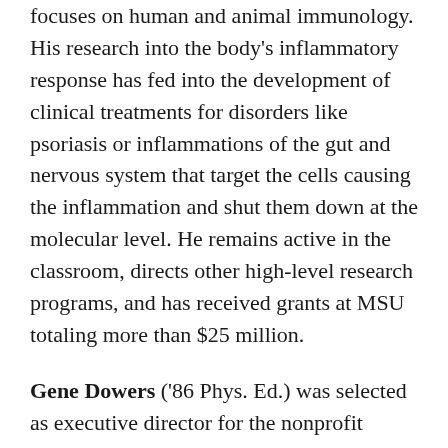focuses on human and animal immunology. His research into the body's inflammatory response has fed into the development of clinical treatments for disorders like psoriasis or inflammations of the gut and nervous system that target the cells causing the inflammation and shut them down at the molecular level. He remains active in the classroom, directs other high-level research programs, and has received grants at MSU totaling more than $25 million.
Gene Dowers ('86 Phys. Ed.) was selected as executive director for the nonprofit Pateros-Brewster Community Resource Center. In his new role, Gene will work to find resources for those in need of health care, chronic pain treatment, disaster relief, and insurance coverage.
Hydrogen Advertising of Seattle chose Brenda